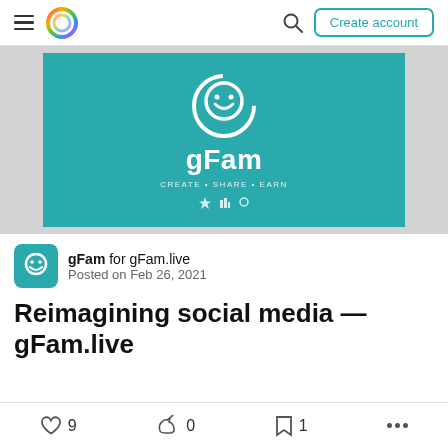gFam — Create account
[Figure (logo): gFam logo on teal background with smiley face circle icon and text 'gFam' with tagline 'create • share • earn' and social icons]
gFam for gFam.live
Posted on Feb 26, 2021
Reimagining social media — gFam.live
9 likes · 0 reactions · 1 bookmark · more options